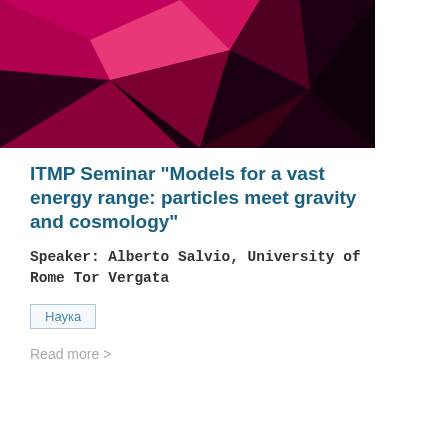[Figure (illustration): Abstract geometric banner image with dark pink/magenta and black angular triangular shapes forming a geometric pattern]
ITMP Seminar "Models for a vast energy range: particles meet gravity and cosmology"
Speaker: Alberto Salvio, University of Rome Tor Vergata
Наука
Read more >